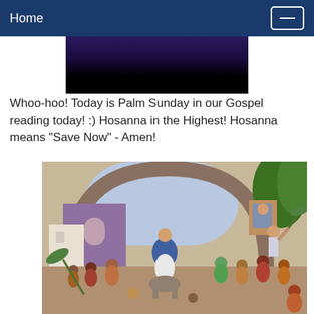Home
[Figure (photo): Dark/black top portion of an image, partially cropped]
Whoo-hoo!  Today is Palm Sunday in our Gospel reading today!  :)  Hosanna in the Highest!  Hosanna means "Save Now" - Amen!
[Figure (illustration): Colorful illustration of Jesus riding a donkey into Jerusalem on Palm Sunday, surrounded by a crowd of people waving palm branches, set against ancient stone arches and buildings.]